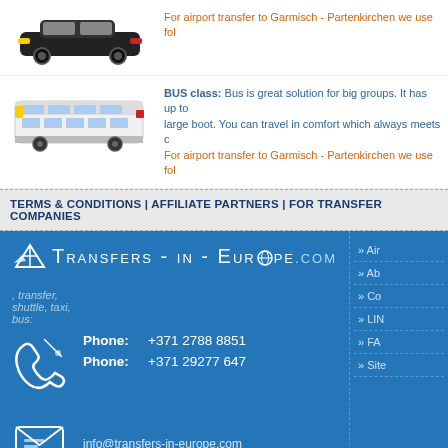[Figure (photo): Black car/sedan vehicle image at top]
For airport transfer to Garmisch - Partenkirchen we use fol
[Figure (photo): White coach bus image]
BUS class: Bus is great solution for big groups. It has up to large boot. You can travel in comfort which always meets c For airport transfer to Garmisch - Partenkirchen we use fol
TERMS & CONDITIONS | AFFILIATE PARTNERS | FOR TRANSFER COMPANIES
[Figure (logo): Transfers-in-Europe.com logo with globe icon and airplane icon]
, transfer, shuttle, taxi, bus:
Phone: +371 2788 8851
Phone: +371 29277 647
info@transfers-in-europe.com
» Air
» Ab
» Co
» LIN
» FA
» Site